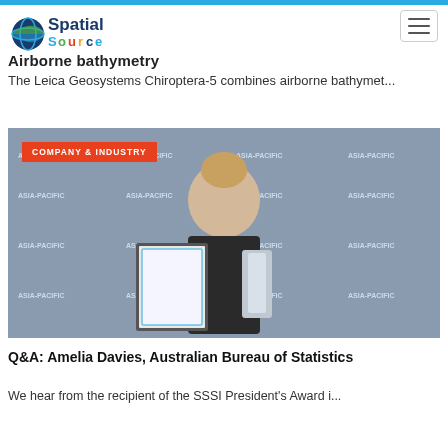[Figure (logo): Spatial Source logo with globe icon and colorful text]
Airborne bathymetry
The Leica Geosystems Chiroptera-5 combines airborne bathymet...
[Figure (photo): Woman in black dress holding an award certificate and trophy at Asia-Pacific Spatial Excellence Awards backdrop. A red badge reads COMPANY & INDUSTRY.]
Q&A: Amelia Davies, Australian Bureau of Statistics
We hear from the recipient of the SSSI President's Award i...